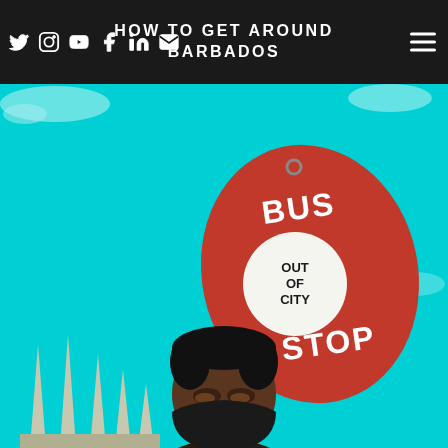HOW TO GET AROUND BARBADOS
[Figure (photo): A person standing under a red 'Bus Stop – Out of City' sign on a pole against a bright teal/cyan sky. The person is wearing a black face mask. Ornamental fence spikes are visible at lower left.]